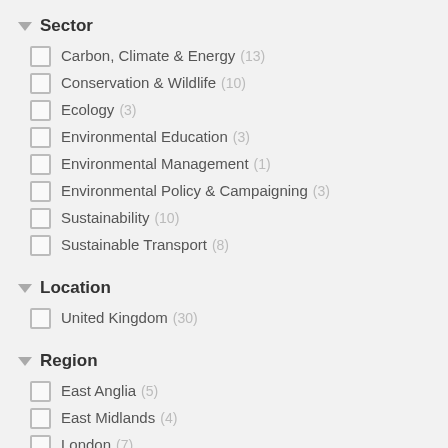Sector
Carbon, Climate & Energy (13)
Conservation & Wildlife (10)
Ecology (3)
Environmental Education (3)
Environmental Management (1)
Environmental Policy & Campaigning (3)
Sustainability (10)
Sustainable Transport (8)
Location
United Kingdom (30)
Region
East Anglia (5)
East Midlands (4)
London (7)
North East (5)
North West (5)